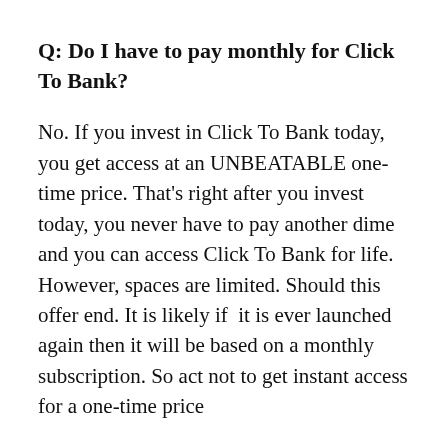Q: Do I have to pay monthly for Click To Bank?
No. If you invest in Click To Bank today, you get access at an UNBEATABLE one-time price. That's right after you invest today, you never have to pay another dime and you can access Click To Bank for life. However, spaces are limited. Should this offer end. It is likely if it is ever launched again then it will be based on a monthly subscription. So act not to get instant access for a one-time price
Q: Are successful affiliates using it?